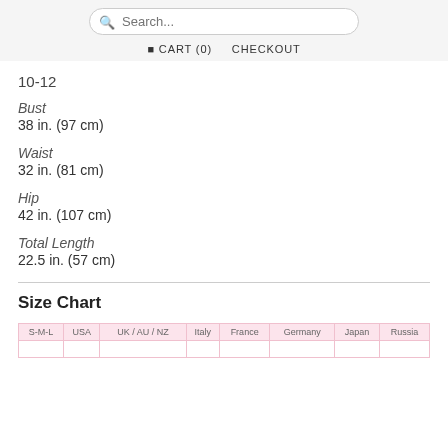Search... CART (0) CHECKOUT
10-12
Bust
38 in. (97 cm)
Waist
32 in. (81 cm)
Hip
42 in. (107 cm)
Total Length
22.5 in. (57 cm)
Size Chart
| S-M-L | USA | UK / AU / NZ | Italy | France | Germany | Japan | Russia |
| --- | --- | --- | --- | --- | --- | --- | --- |
|  |